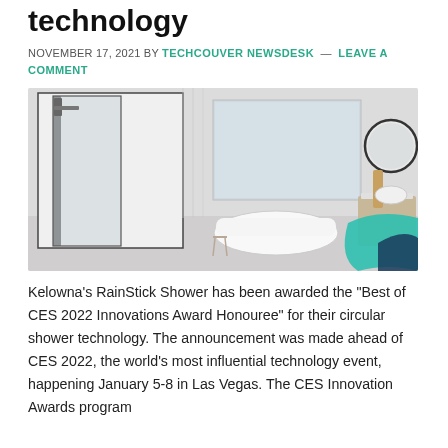technology
NOVEMBER 17, 2021 BY TECHCOUVER NEWSDESK — LEAVE A COMMENT
[Figure (photo): Modern bathroom interior with a dark-framed shower on the left, a freestanding white soaking tub in the center near a large window, and a vanity with round mirror on the right. A teal/turquoise and dark blue decorative shape overlaid in the bottom-right corner.]
Kelowna's RainStick Shower has been awarded the "Best of CES 2022 Innovations Award Honouree" for their circular shower technology. The announcement was made ahead of CES 2022, the world's most influential technology event, happening January 5-8 in Las Vegas. The CES Innovation Awards program